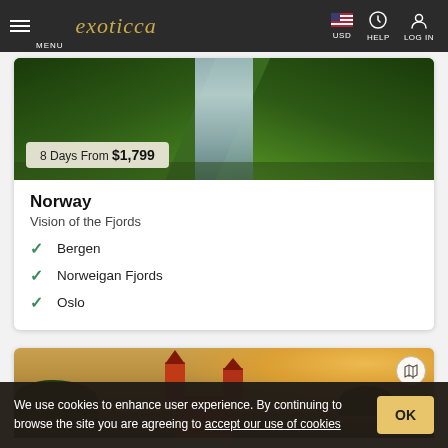exoticca — MENU | USD | HELP | LOG IN
[Figure (photo): Aerial view of Norwegian fjord with green mountains and waterfall, price badge showing 8 Days From $1,799]
Norway
Vision of the Fjords
Bergen
Norweigan Fjords
Oslo
[Figure (photo): Scenic view of a red castle on an island in a lake at golden hour sunset — Lithuania, Latvia & Estonia tour]
Lithuania, Latvia & Estonia
We use cookies to enhance user experience. By continuing to browse the site you are agreeing to accept our use of cookies